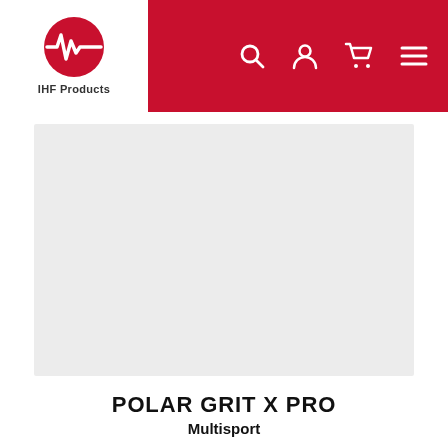IHF Products — Navigation header with logo, search, account, cart, menu icons
[Figure (photo): Product image placeholder area, light grey background, showing no product image loaded]
POLAR GRIT X PRO
Multisport
R 9,999.00